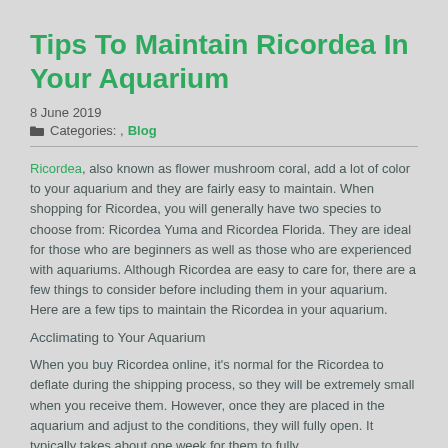Tips To Maintain Ricordea In Your Aquarium
8 June 2019
Categories: , Blog
Ricordea, also known as flower mushroom coral, add a lot of color to your aquarium and they are fairly easy to maintain. When shopping for Ricordea, you will generally have two species to choose from: Ricordea Yuma and Ricordea Florida. They are ideal for those who are beginners as well as those who are experienced with aquariums. Although Ricordea are easy to care for, there are a few things to consider before including them in your aquarium. Here are a few tips to maintain the Ricordea in your aquarium.
Acclimating to Your Aquarium
When you buy Ricordea online, it's normal for the Ricordea to deflate during the shipping process, so they will be extremely small when you receive them. However, once they are placed in the aquarium and adjust to the conditions, they will fully open. It typically takes about one week for them to fully acclimate and open. The Ricordea should be placed in a low to moderate...